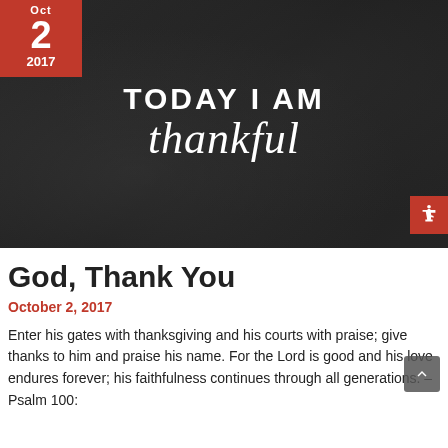[Figure (illustration): Dark chalkboard-style banner image with text 'TODAY I AM thankful' in white lettering. Top-left corner has a red date badge showing Oct 2 2017. Bottom-right has a red accessibility icon button.]
God, Thank You
October 2, 2017
Enter his gates with thanksgiving and his courts with praise; give thanks to him and praise his name. For the Lord is good and his love endures forever; his faithfulness continues through all generations. – Psalm 100: